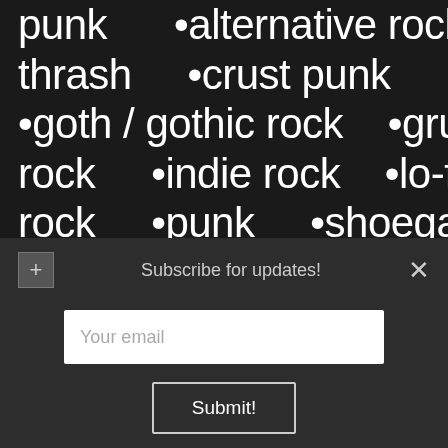punk  •alternative rock
thrash  •crust punk  •ex
•goth / gothic rock  •grunge
rock  •indie rock  •lo-fi
rock  •punk  •shoegaze
blues  •classic blues  •c
blues  •delta blues  •ele
Subscribe for updates!
Your email
Submit!